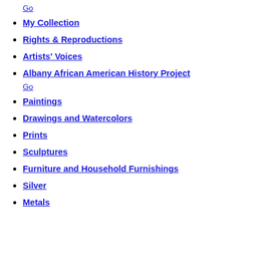Go
My Collection
Rights & Reproductions
Artists' Voices
Albany African American History Project
Go
Paintings
Drawings and Watercolors
Prints
Sculptures
Furniture and Household Furnishings
Silver
Metals